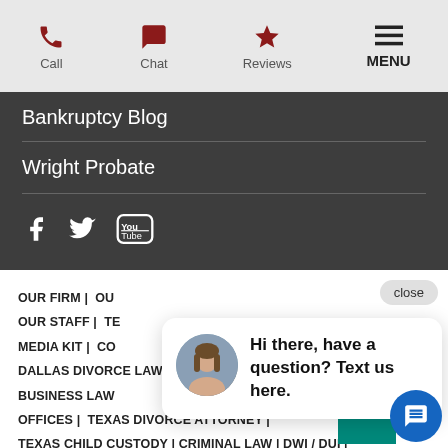Call | Chat | Reviews | MENU
Bankruptcy Blog
Wright Probate
[Figure (illustration): Social media icons: Facebook, Twitter, YouTube]
close
OUR FIRM | OUR...
OUR STAFF | TE...
MEDIA KIT | CO...
DALLAS DIVORCE LAWYERS | ESTATE PLANNING & BUSINESS LAW
OFFICES | TEXAS DIVORCE ATTORNEY |
TEXAS CHILD CUSTODY | CRIMINAL LAW | DWI / DUI |
IMMIGRATION | FORM... | ...DIVORCE B...
[Figure (illustration): Chat popup with avatar photo of a woman and text: Hi there, have a question? Text us here.]